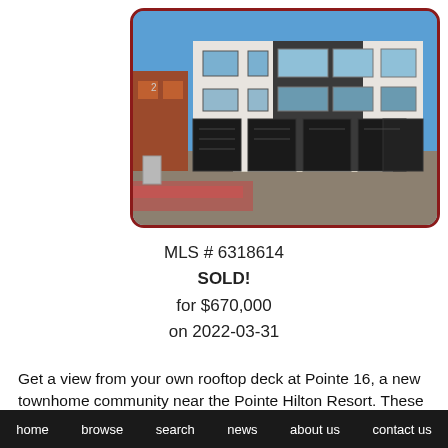[Figure (photo): Exterior photo of Pointe 16 townhome community showing modern multi-story white and dark-grey townhomes with black garage doors, blue sky, parking area in foreground. Framed with dark red rounded border.]
MLS # 6318614
SOLD!
for $670,000
on 2022-03-31
Get a view from your own rooftop deck at Pointe 16, a new townhome community near the Pointe Hilton Resort. These 3
home   browse   search   news   about us   contact us